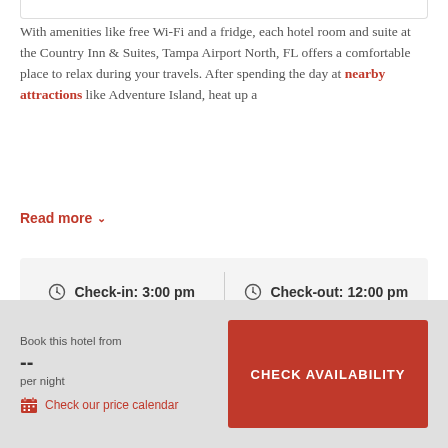With amenities like free Wi-Fi and a fridge, each hotel room and suite at the Country Inn & Suites, Tampa Airport North, FL offers a comfortable place to relax during your travels. After spending the day at nearby attractions like Adventure Island, heat up a
Read more
| Check-in: 3:00 pm | Check-out: 12:00 pm |
Book this hotel from
--
per night
Check our price calendar
CHECK AVAILABILITY